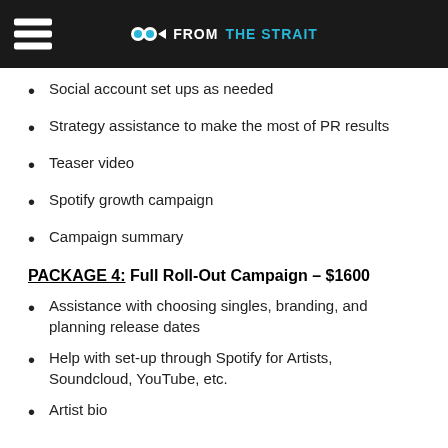FROM THE STRAIT
Social account set ups as needed
Strategy assistance to make the most of PR results
Teaser video
Spotify growth campaign
Campaign summary
PACKAGE 4: Full Roll-Out Campaign – $1600
Assistance with choosing singles, branding, and planning release dates
Help with set-up through Spotify for Artists, Soundcloud, YouTube, etc.
Artist bio